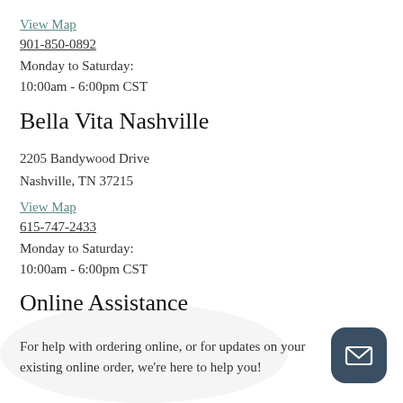View Map
901-850-0892
Monday to Saturday:
10:00am - 6:00pm CST
Bella Vita Nashville
2205 Bandywood Drive
Nashville, TN 37215
View Map
615-747-2433
Monday to Saturday:
10:00am - 6:00pm CST
Online Assistance
For help with ordering online, or for updates on your existing online order, we're here to help you!